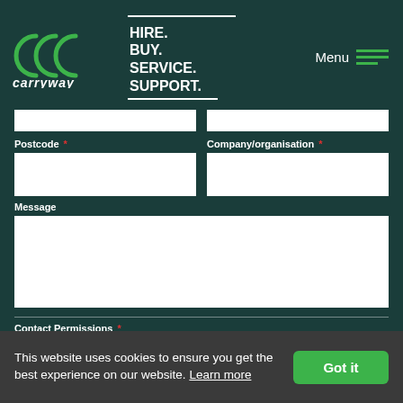[Figure (logo): Carryway logo with circular 'CW' mark and tagline HIRE. BUY. SERVICE. SUPPORT. on dark green background, with Menu hamburger icon top right]
Postcode *
Company/organisation *
Message
Contact Permissions *
We would love to send you news of our latest offers, new products and our latest info, we will always treat your personal details with the utmost care and will never sell to other companies for marketing purposes. See our privacy policy for more details. Please let us know if you would like us to contact
This website uses cookies to ensure you get the best experience on our website. Learn more